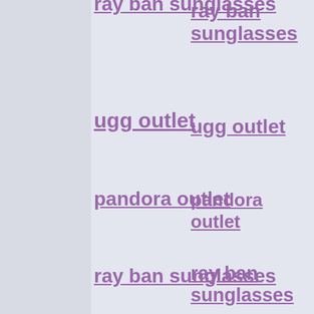ray ban sunglasses
ugg outlet
pandora outlet
ray ban sunglasses
gucci borse
air jordan 8